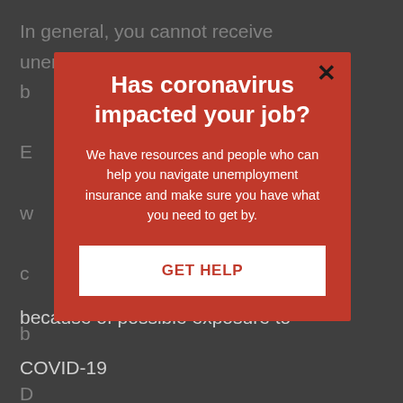In general, you cannot receive unemployment b... E... w... c... b... D... a... t... r... n... a... c... because of possible exposure to COVID-19...
[Figure (screenshot): A modal popup dialog with red background overlaying a darkened webpage. The modal has a close (×) button, a bold white headline 'Has coronavirus impacted your job?', a white body text paragraph, and a white 'GET HELP' button.]
Has coronavirus impacted your job?
We have resources and people who can help you navigate unemployment insurance and make sure you have what you need to get by.
GET HELP
because of possible exposure to
COVID-19